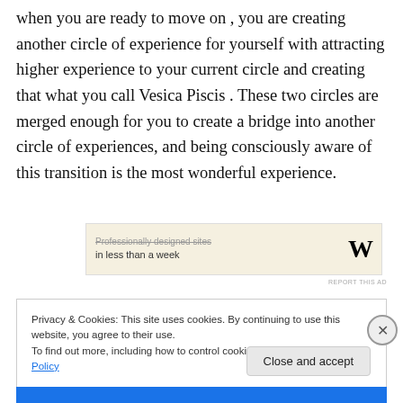when you are ready to move on , you are creating another circle of experience for yourself with attracting higher experience to your current circle and creating that what you call Vesica Piscis . These two circles are merged enough for you to create a bridge into another circle of experiences, and being consciously aware of this transition is the most wonderful experience.
[Figure (other): Advertisement banner with text 'Professionally designed sites in less than a week' and WordPress W logo on beige background]
REPORT THIS AD
Privacy & Cookies: This site uses cookies. By continuing to use this website, you agree to their use.
To find out more, including how to control cookies, see here: Cookie Policy
Close and accept